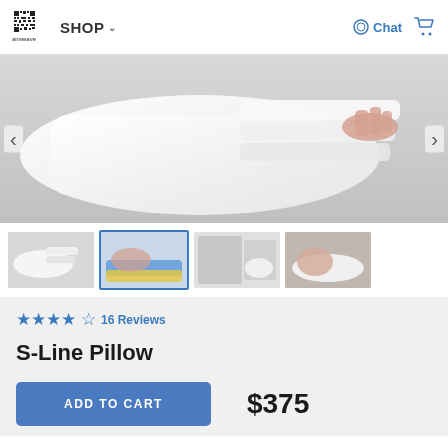airweave | SHOP | Chat
[Figure (photo): Hand pulling out/adjusting a white pillow insert, shown close-up on a light gray surface.]
[Figure (photo): Thumbnail 1: White pillow being adjusted, similar to main image.]
[Figure (photo): Thumbnail 2: Woman lying on colorful pillow layers (blue and yellow).]
[Figure (photo): Thumbnail 3: Product information/text page with pillow photo.]
[Figure (photo): Thumbnail 4: Woman sleeping on a white pillow.]
★★★★☆ 16 Reviews
S-Line Pillow
ADD TO CART   $375